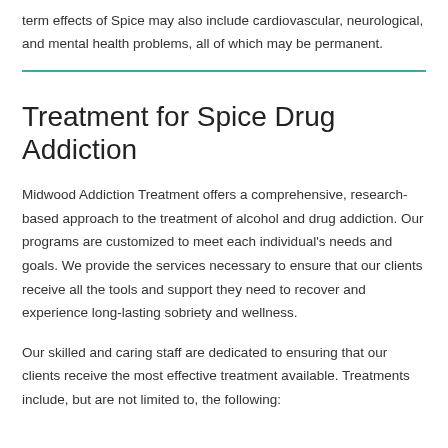term effects of Spice may also include cardiovascular, neurological, and mental health problems, all of which may be permanent.
Treatment for Spice Drug Addiction
Midwood Addiction Treatment offers a comprehensive, research-based approach to the treatment of alcohol and drug addiction. Our programs are customized to meet each individual's needs and goals. We provide the services necessary to ensure that our clients receive all the tools and support they need to recover and experience long-lasting sobriety and wellness.
Our skilled and caring staff are dedicated to ensuring that our clients receive the most effective treatment available. Treatments include, but are not limited to, the following: